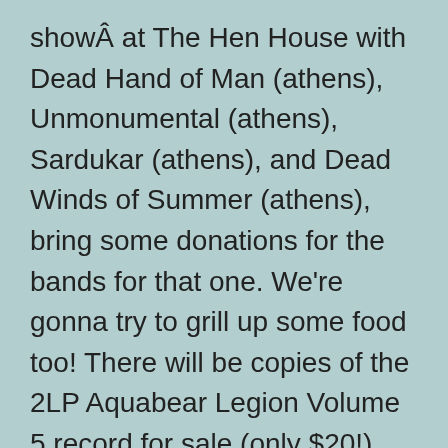showÂ at The Hen House with Dead Hand of Man (athens), Unmonumental (athens), Sardukar (athens), and Dead Winds of Summer (athens), bring some donations for the bands for that one. We’re gonna try to grill up some food too! There will be copies of the 2LP Aquabear Legion Volume 5 record for sale (only $20!) along with amazing limited edition Aquabear Legion screenprints from Charlie Touvell, and new t-shirts and sweatshirts too! See you all at the Fair.
Thursday, October 22nd at 8:00pm
Kickoff at The Bat LoungeÂ – Donations